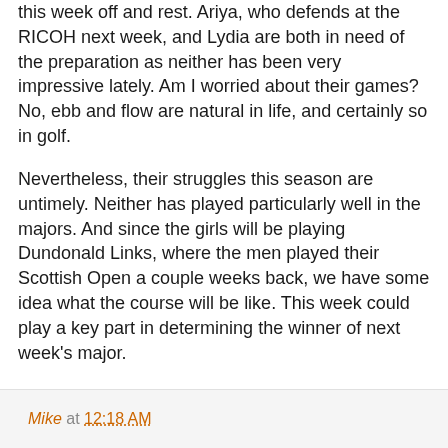this week off and rest. Ariya, who defends at the RICOH next week, and Lydia are both in need of the preparation as neither has been very impressive lately. Am I worried about their games? No, ebb and flow are natural in life, and certainly so in golf.
Nevertheless, their struggles this season are untimely. Neither has played particularly well in the majors. And since the girls will be playing Dundonald Links, where the men played their Scottish Open a couple weeks back, we have some idea what the course will be like. This week could play a key part in determining the winner of next week's major.
GC is shoehorning the ladies in-between the Senior Open broadcasts, with today's two-hour window scheduled from 9:30-11:30am ET. The RICOH will get much more coverage next week but, as I said, I wouldn't underestimate the importance of this week.
Mike at 12:18 AM